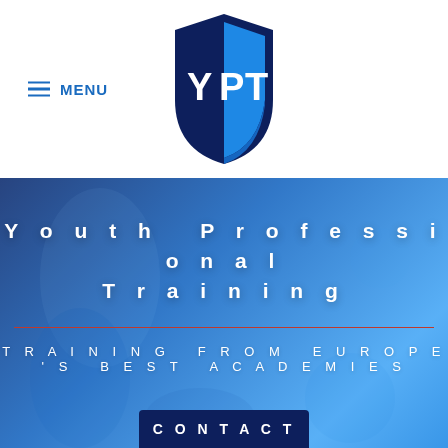[Figure (logo): YPT shield logo with dark navy blue and sky blue colors, white letters Y, P, T]
MENU
[Figure (photo): Background photo of youth soccer player with blue overlay]
Youth Professional Training
TRAINING FROM EUROPE'S BEST ACADEMIES
CONTACT